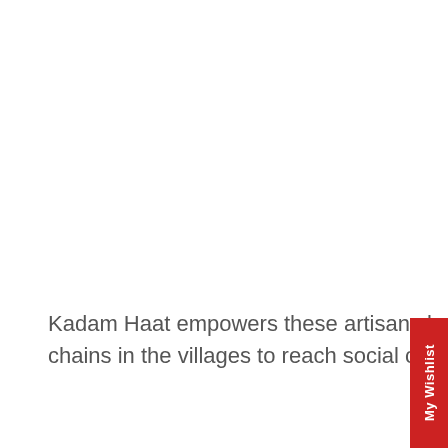Kadam Haat empowers these artisans by setting up the infrastructure, essential supply chains in the villages to reach social conscious consumers across the globe!
[Figure (photo): Hands of an artisan weaving a bamboo/cane basket, with natural straw-colored strips in a diagonal lattice pattern. A purple/magenta cloth is visible in the background.]